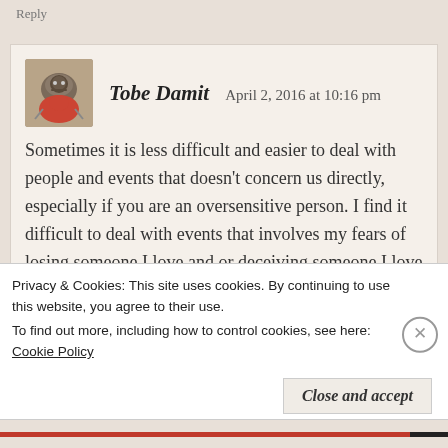Reply
Tobe Damit   April 2, 2016 at 10:16 pm
Sometimes it is less difficult and easier to deal with people and events that doesn't concern us directly, especially if you are an oversensitive person. I find it difficult to deal with events that involves my fears of losing someone I love and or deceiving someone I love or acting clumsy and stupid, only making matters worst. But I'm not
Privacy & Cookies: This site uses cookies. By continuing to use this website, you agree to their use.
To find out more, including how to control cookies, see here: Cookie Policy
Close and accept